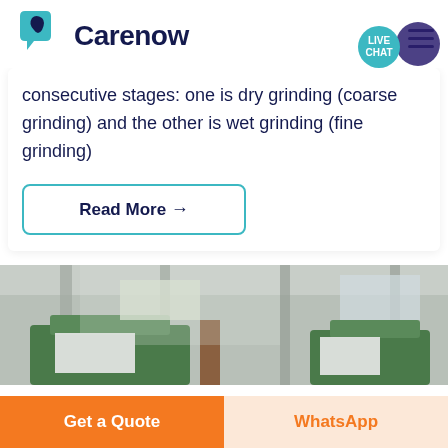Carenow
consecutive stages: one is dry grinding (coarse grinding) and the other is wet grinding (fine grinding)
Read More →
[Figure (photo): Industrial machinery on factory floor, green equipment visible]
Get a Quote
WhatsApp